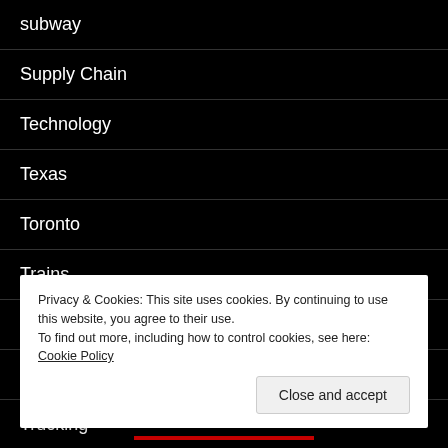subway
Supply Chain
Technology
Texas
Toronto
Trains
Travel
Troy
Trucking
Privacy & Cookies: This site uses cookies. By continuing to use this website, you agree to their use.
To find out more, including how to control cookies, see here: Cookie Policy
Close and accept